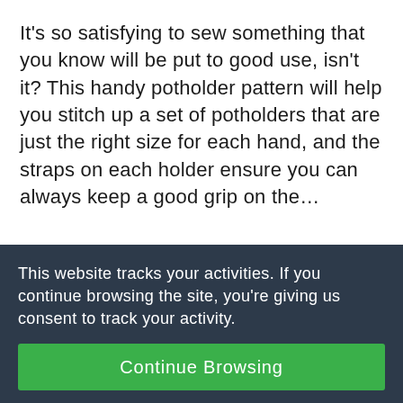It's so satisfying to sew something that you know will be put to good use, isn't it? This handy potholder pattern will help you stitch up a set of potholders that are just the right size for each hand, and the straps on each holder ensure you can always keep a good grip on the…
This website tracks your activities. If you continue browsing the site, you're giving us consent to track your activity.
Continue Browsing